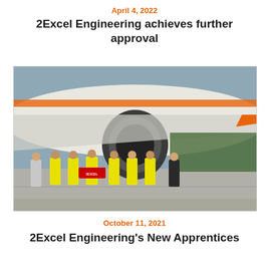April 4, 2022
2Excel Engineering achieves further approval
[Figure (photo): Group of eight people in hi-visibility vests standing in front of a commercial aircraft engine on a tarmac. One person holds a 2Excel Engineering sign. Trees and airport equipment visible in background.]
October 11, 2021
2Excel Engineering's New Apprentices